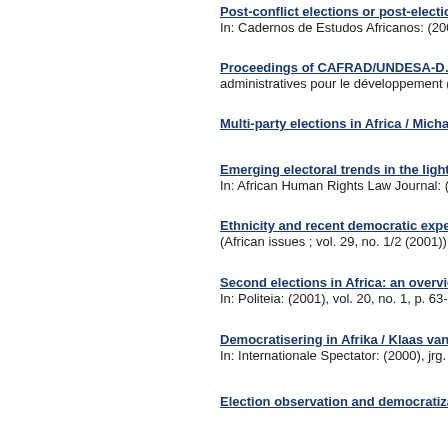Post-conflict elections or post-elections… In: Cadernos de Estudos Africanos: (200…
Proceedings of CAFRAD/UNDESA-D… administratives pour le développement (0…
Multi-party elections in Africa / Micha…
Emerging electoral trends in the light… In: African Human Rights Law Journal: (…
Ethnicity and recent democratic exper… (African issues ; vol. 29, no. 1/2 (2001))
Second elections in Africa: an overvie… In: Politeia: (2001), vol. 20, no. 1, p. 63-…
Democratisering in Afrika / Klaas van … In: Internationale Spectator: (2000), jrg. …
Election observation and democratizat…